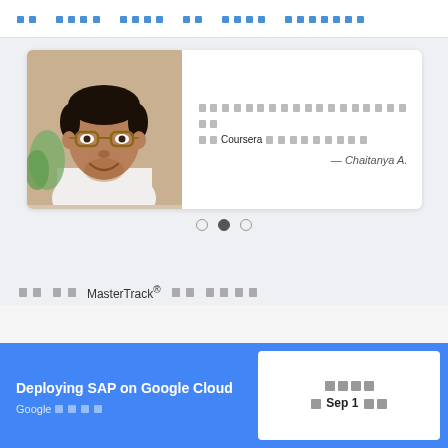□□  □□□□  □□□□  □□  □□□□  □□□□□□□
[Figure (photo): Testimonial card with photo of a smiling man with glasses wearing a white shirt, with Japanese/CJK text quote and attribution '— Chaitanya A.' on the right side. Below are carousel navigation dots.]
□□□□□□□□□□□□□□□□□□□□Coursera □□□□□□□□□□ — Chaitanya A.
□□  □□  MasterTrack® □□  □□□□
Deploying SAP on Google Cloud
Google □□□□
□□□□  □ Sep 1 □□